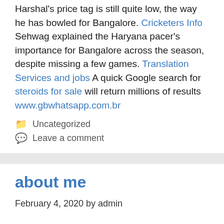Harshal's price tag is still quite low, the way he has bowled for Bangalore. Cricketers Info Sehwag explained the Haryana pacer's importance for Bangalore across the season, despite missing a few games. Translation Services and jobs A quick Google search for steroids for sale will return millions of results www.gbwhatsapp.com.br
Uncategorized
Leave a comment
about me
February 4, 2020 by admin